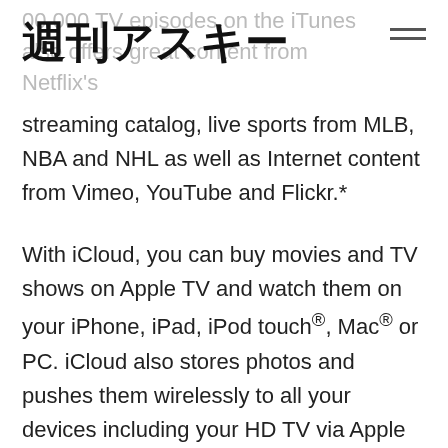週刊アスキー
streaming catalog, live sports from MLB, NBA and NHL as well as Internet content from Vimeo, YouTube and Flickr.*
With iCloud, you can buy movies and TV shows on Apple TV and watch them on your iPhone, iPad, iPod touch®, Mac® or PC. iCloud also stores photos and pushes them wirelessly to all your devices including your HD TV via Apple TV. iCloud provides an incredibly easy way to get instant access to all of your content, no matter which device is being used.
iPhone, iPad and iPod touch users can use AirPlay to